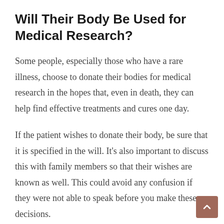Will Their Body Be Used for Medical Research?
Some people, especially those who have a rare illness, choose to donate their bodies for medical research in the hopes that, even in death, they can help find effective treatments and cures one day.
If the patient wishes to donate their body, be sure that it is specified in the will. It's also important to discuss this with family members so that their wishes are known as well. This could avoid any confusion if they were not able to speak before you make these decisions.